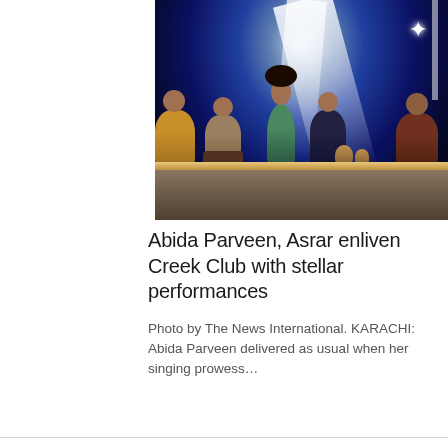[Figure (photo): Concert performance photo showing Abida Parveen singing on stage with musicians seated around her playing tabla and harmonium, dramatic stage lighting with bright beams overhead against dark blue background]
Abida Parveen, Asrar enliven Creek Club with stellar performances
Photo by The News International. KARACHI: Abida Parveen delivered as usual when her singing prowess…